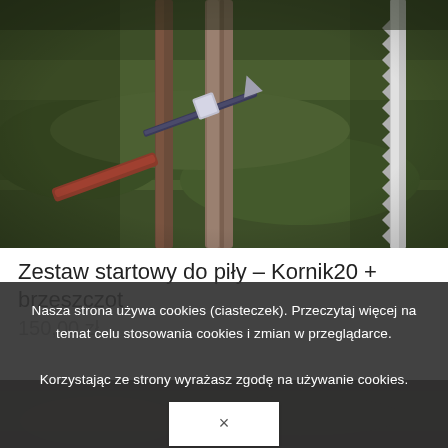[Figure (photo): Close-up photo of gardening/pruning tools including a saw blade and a drill bit/gimlet resting on green moss with tree branches, dark moody lighting]
Zestaw startowy do piły – Kornik20 + brzeszczot
150,00 zł
Nasza strona używa cookies (ciasteczek). Przeczytaj więcej na temat celu stosowania cookies i zmian w przeglądarce.

Korzystając ze strony wyrażasz zgodę na używanie cookies.
[Figure (photo): Partial view of another product photo at the bottom, dark brown tones]